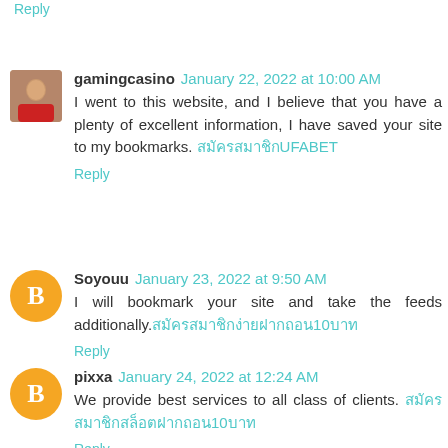Reply
gamingcasino January 22, 2022 at 10:00 AM
I went to this website, and I believe that you have a plenty of excellent information, I have saved your site to my bookmarks. สมัครสมาชิกUFABET
Reply
Soyouu January 23, 2022 at 9:50 AM
I will bookmark your site and take the feeds additionally. สมัครสมาชิกง่ายฝากถอน10บาท
Reply
pixxa January 24, 2022 at 12:24 AM
We provide best services to all class of clients. สมัครสมาชิกสล็อตฝากถอน10บาท
Reply